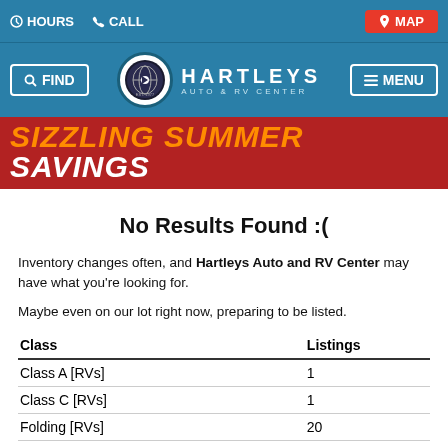HOURS  CALL  MAP
[Figure (logo): Hartleys Auto & RV Center logo with circular emblem and text]
[Figure (infographic): Sizzling Summer Savings banner in red with orange and white italic text]
No Results Found :(
Inventory changes often, and Hartleys Auto and RV Center may have what you're looking for.
Maybe even on our lot right now, preparing to be listed.
| Class | Listings |
| --- | --- |
| Class A [RVs] | 1 |
| Class C [RVs] | 1 |
| Folding [RVs] | 20 |
| Passenger [Vehicles] | 1 |
| Travel Trailer [RVs] | 68 |